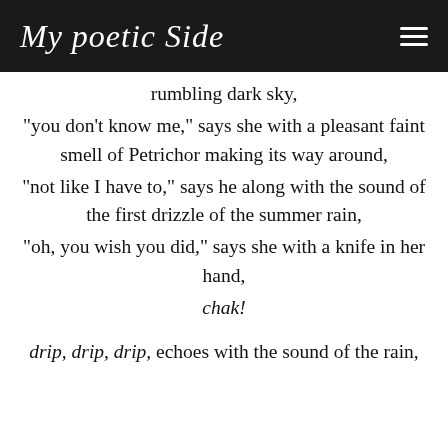My poetic Side
rumbling dark sky,
"you don't know me," says she with a pleasant faint smell of Petrichor making its way around,
"not like I have to," says he along with the sound of the first drizzle of the summer rain,
"oh, you wish you did," says she with a knife in her hand,
chak!

drip, drip, drip, echoes with the sound of the rain,